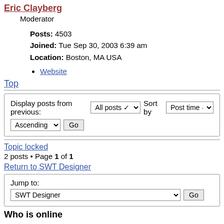Eric Clayberg
Moderator
Posts: 4503
Joined: Tue Sep 30, 2003 6:39 am
Location: Boston, MA USA
Website
Top
Display posts from previous: All posts ▾  Sort by  Post time ▾
Ascending ▾  Go
Topic locked
2 posts • Page 1 of 1
Return to SWT Designer
Jump to:
SWT Designer  Go
Who is online